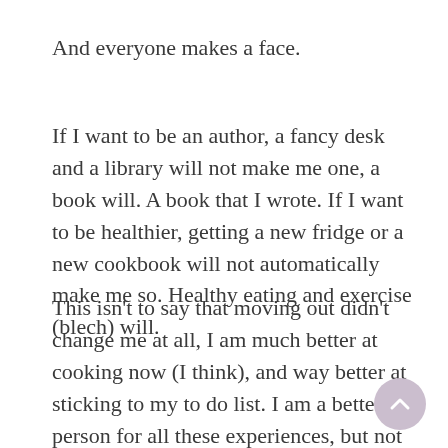And everyone makes a face.
If I want to be an author, a fancy desk and a library will not make me one, a book will. A book that I wrote. If I want to be healthier, getting a new fridge or a new cookbook will not automatically make me so. Healthy eating and exercise (blech) will.
This isn't to say that moving out didn't change me at all, I am much better at cooking now (I think), and way better at sticking to my to do list. I am a better person for all these experiences, but not necessarily a different person. If I want to change things about myself,